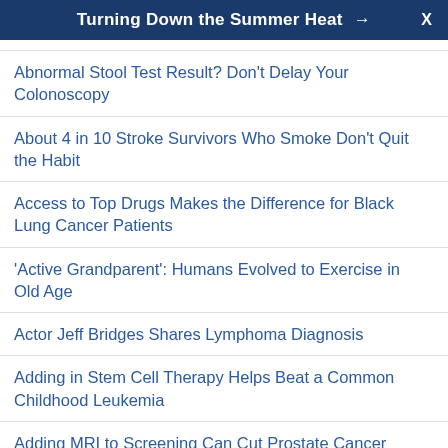Turning Down the Summer Heat →  X
Abnormal Stool Test Result? Don't Delay Your Colonoscopy
About 4 in 10 Stroke Survivors Who Smoke Don't Quit the Habit
Access to Top Drugs Makes the Difference for Black Lung Cancer Patients
'Active Grandparent': Humans Evolved to Exercise in Old Age
Actor Jeff Bridges Shares Lymphoma Diagnosis
Adding in Stem Cell Therapy Helps Beat a Common Childhood Leukemia
Adding MRI to Screening Can Cut Prostate Cancer Overdiagnosis in Half
Advances in Care, Impact of COVID Highlights of Latest Cardiologists' Meeting